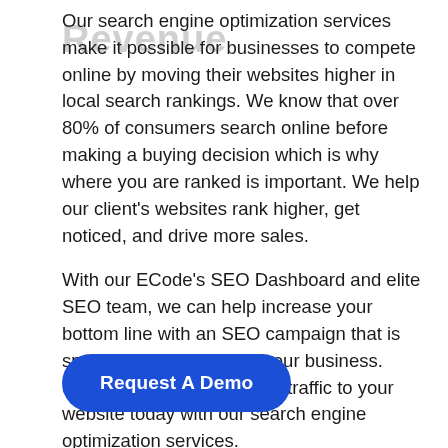Our search engine optimization services make it possible for businesses to compete online by moving their websites higher in local search rankings. We know that over 80% of consumers search online before making a buying decision which is why where you are ranked is important. We help our client's websites rank higher, get noticed, and drive more sales.

With our ECode's SEO Dashboard and elite SEO team, we can help increase your bottom line with an SEO campaign that is specifically designed for your business. Start driving more qualified traffic to your website today with our search engine optimization services.
Request A Demo